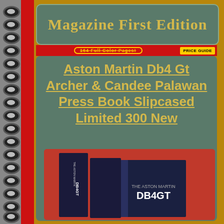Magazine First Edition
164 Full Color Pages!   PRICE GUIDE
Aston Martin Db4 Gt Archer & Candee Palawan Press Book Slipcased Limited 300 New
[Figure (photo): Photo of a dark navy blue slipcased book titled 'THE ASTON MARTIN DB4GT' with box and book visible side by side on a red background]